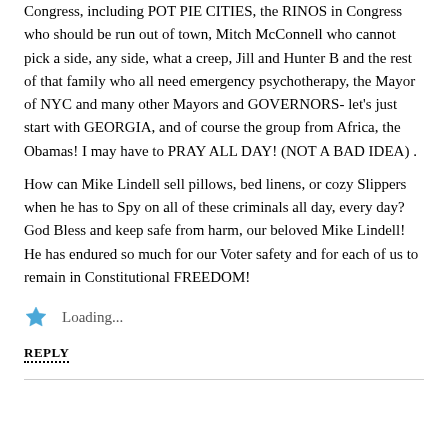Congress, including POT PIE CITIES, the RINOS in Congress who should be run out of town, Mitch McConnell who cannot pick a side, any side, what a creep, Jill and Hunter B and the rest of that family who all need emergency psychotherapy, the Mayor of NYC and many other Mayors and GOVERNORS- let's just start with GEORGIA, and of course the group from Africa, the Obamas! I may have to PRAY ALL DAY! (NOT A BAD IDEA) .
How can Mike Lindell sell pillows, bed linens, or cozy Slippers when he has to Spy on all of these criminals all day, every day? God Bless and keep safe from harm, our beloved Mike Lindell! He has endured so much for our Voter safety and for each of us to remain in Constitutional FREEDOM!
Loading...
REPLY